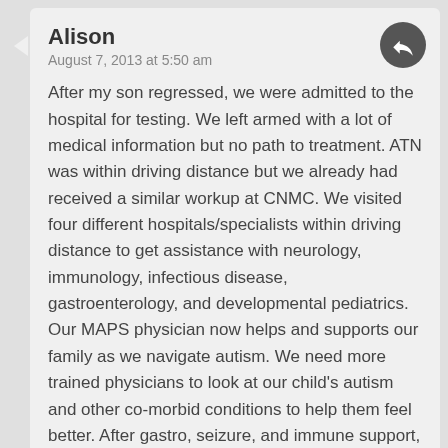Alison
August 7, 2013 at 5:50 am
After my son regressed, we were admitted to the hospital for testing. We left armed with a lot of medical information but no path to treatment. ATN was within driving distance but we already had received a similar workup at CNMC. We visited four different hospitals/specialists within driving distance to get assistance with neurology, immunology, infectious disease, gastroenterology, and developmental pediatrics. Our MAPS physician now helps and supports our family as we navigate autism. We need more trained physicians to look at our child's autism and other co-morbid conditions to help them feel better. After gastro, seizure, and immune support, our son is feeling better, more engaged, and happy again.
The practice of medicine requires dialogue between doctors and patients. Diagnosis and care are driven